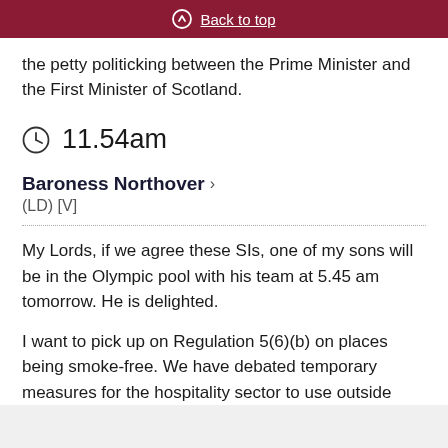Back to top
the petty politicking between the Prime Minister and the First Minister of Scotland.
11.54am
Baroness Northover
(LD) [V]
My Lords, if we agree these SIs, one of my sons will be in the Olympic pool with his team at 5.45 am tomorrow. He is delighted.
I want to pick up on Regulation 5(6)(b) on places being smoke-free. We have debated temporary measures for the hospitality sector to use outside